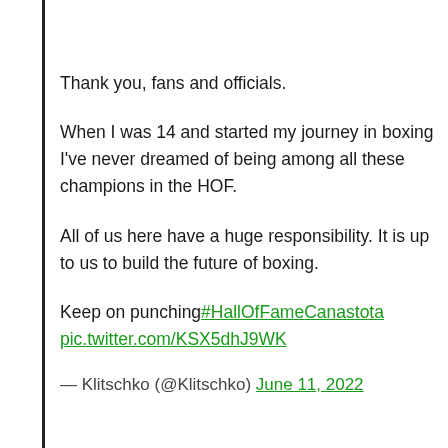Thank you, fans and officials.
When I was 14 and started my journey in boxing I've never dreamed of being among all these champions in the HOF.
All of us here have a huge responsibility. It is up to us to build the future of boxing.
Keep on punching #HallOfFameCanastota pic.twitter.com/KSX5dhJ9WK
— Klitschko (@Klitschko) June 11, 2022